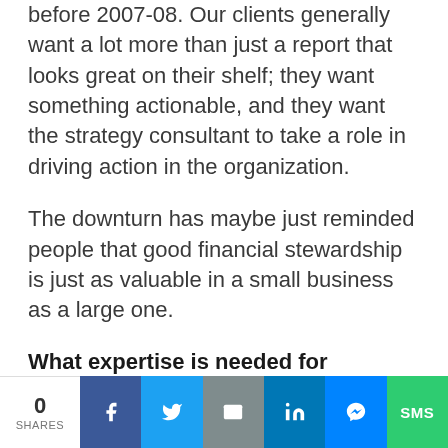before 2007-08. Our clients generally want a lot more than just a report that looks great on their shelf; they want something actionable, and they want the strategy consultant to take a role in driving action in the organization.
The downturn has maybe just reminded people that good financial stewardship is just as valuable in a small business as a large one.
What expertise is needed for consultants to address complex long-term problems?
0 SHARES | Facebook | Twitter | Email | LinkedIn | Messenger | SMS